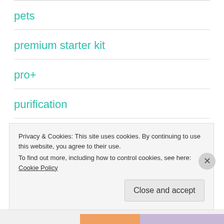pets
premium starter kit
pro+
purification
recipe
rosemary
Privacy & Cookies: This site uses cookies. By continuing to use this website, you agree to their use.
To find out more, including how to control cookies, see here: Cookie Policy
Close and accept